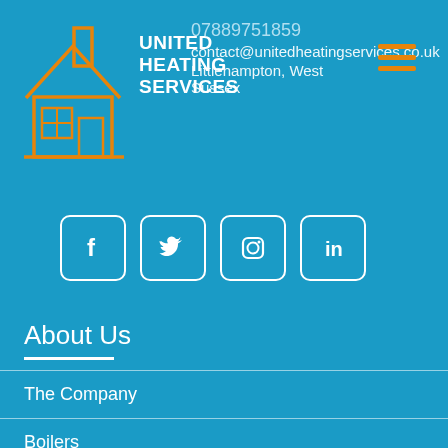[Figure (logo): United Heating Services logo with house/chimney icon in orange and white, company name in bold white uppercase text, phone number 07889751859, email contact@unitedheatingservices.co.uk, address Littlehampton, West Sussex, and orange hamburger menu icon]
[Figure (infographic): Row of four social media icons (Facebook, Twitter, Instagram, LinkedIn) in white rounded square outlines on blue background]
About Us
The Company
Boilers
Cover Plans
Service and Repairs